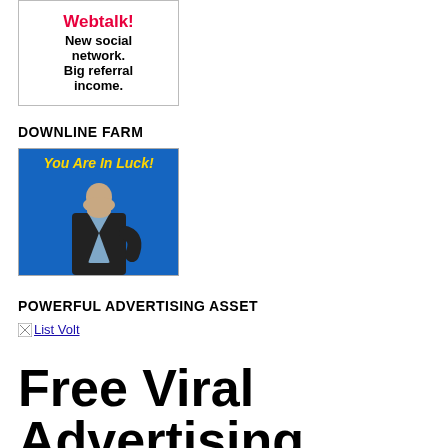[Figure (illustration): Ad banner with red Webtalk! text, New social network. Big referral income. in bold black text on white background with gray border]
DOWNLINE FARM
[Figure (photo): Blue background ad image with You Are In Luck! in yellow italic text and a man in a suit with his hand covering his mouth]
POWERFUL ADVERTISING ASSET
[Figure (other): List Volt broken image icon with alt text List Volt]
Free Viral Advertising